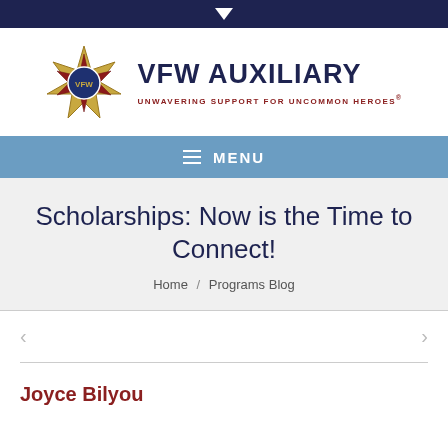[Figure (logo): VFW Auxiliary logo with emblem and text 'VFW Auxiliary – Unwavering Support For Uncommon Heroes®']
≡ MENU
Scholarships: Now is the Time to Connect!
Home / Programs Blog
Joyce Bilyou